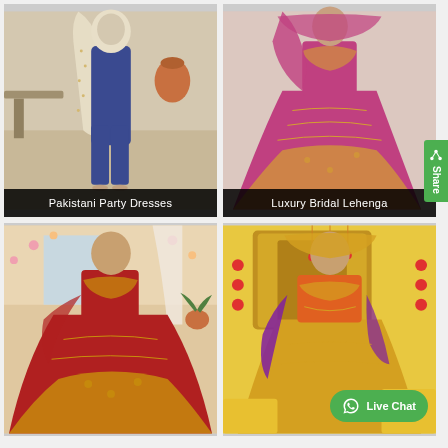[Figure (photo): Woman wearing Pakistani party dress - blue and cream embroidered outfit with wide-leg pants]
Pakistani Party Dresses
[Figure (photo): Woman wearing luxury bridal lehenga in pink/magenta with heavy gold embroidery]
Luxury Bridal Lehenga
[Figure (photo): Bride in red bridal lehenga with gold embroidery at mehndi/wedding setting]
[Figure (photo): Bride in yellow bridal lehenga with purple dupatta at festive setting with Live Chat WhatsApp button overlay]